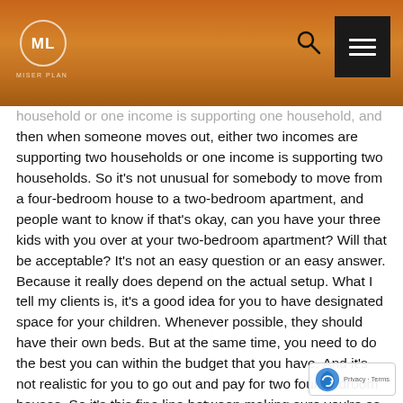ML [logo] — navigation header with search and menu icons
household or one income is supporting one household, and then when someone moves out, either two incomes are supporting two households or one income is supporting two households. So it's not unusual for somebody to move from a four-bedroom house to a two-bedroom apartment, and people want to know if that's okay, can you have your three kids with you over at your two-bedroom apartment? Will that be acceptable? It's not an easy question or an easy answer. Because it really does depend on the actual setup. What I tell my clients is, it's a good idea for you to have designated space for your children. Whenever possible, they should have their own beds. But at the same time, you need to do the best you can within the budget that you have. And it's not realistic for you to go out and pay for two four-bedroom houses. So it's this fine line between making sure you're as set up as you possibly can be to make your children comfortable with staying within your budget. I don't know if that answers the question… And he is talking to the CAA or court-appointed